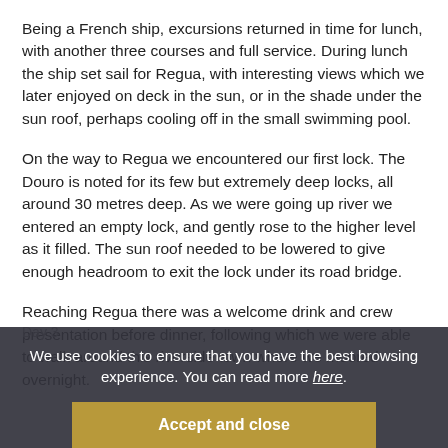Being a French ship, excursions returned in time for lunch, with another three courses and full service. During lunch the ship set sail for Regua, with interesting views which we later enjoyed on deck in the sun, or in the shade under the sun roof, perhaps cooling off in the small swimming pool.
On the way to Regua we encountered our first lock. The Douro is noted for its few but extremely deep locks, all around 30 metres deep. As we were going up river we entered an empty lock, and gently rose to the higher level as it filled. The sun roof needed to be lowered to give enough headroom to exit the lock under its road bridge.
Reaching Regua there was a welcome drink and crew presentation before dinner, following which we were able to walk around this riverside town where we moored overnight.
Day 3
We use cookies to ensure that you have the best browsing experience. You can read more here.
Accept and close